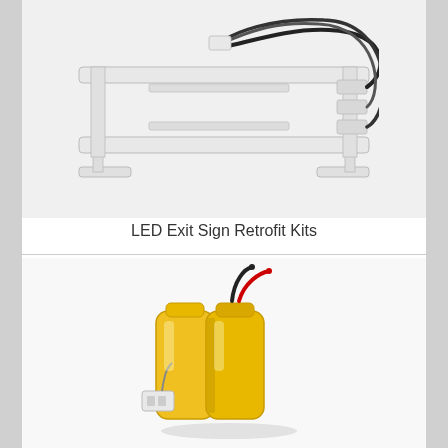[Figure (photo): LED Exit Sign Retrofit Kit — white plastic frame with two mounting feet, horizontal rails, and connected wiring harness with black cables and white connectors]
LED Exit Sign Retrofit Kits
[Figure (photo): Yellow rectangular NiCd battery pack with two cells, red and black wires at top, and a small white connector plug at bottom left]